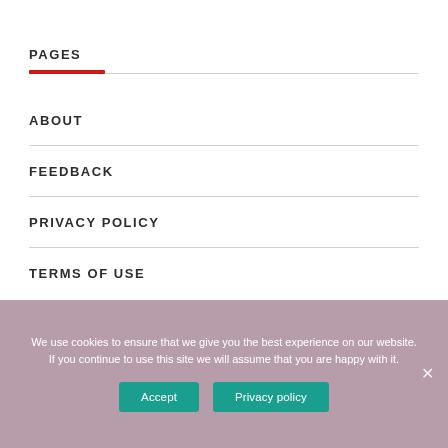PAGES
ABOUT
FEEDBACK
PRIVACY POLICY
TERMS OF USE
We use cookies to ensure that we give you the best experience on our website. If you continue to use this site we will assume that you are happy with it.
Accept
Privacy policy